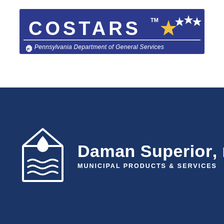[Figure (logo): COSTARS logo banner — blue background with 'COSTARS' text in large white letters, star decorations, and 'Pennsylvania Department of General Services' subtitle with keystone shield icon]
[Figure (logo): Daman Superior, LLC — Municipal Products & Services logo. White icon of water droplet above water waves inside a rectangular shape, with company name in large white bold text on dark navy blue background]